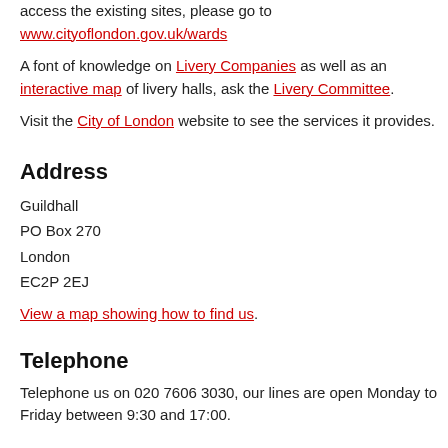access the existing sites, please go to www.cityoflondon.gov.uk/wards
A font of knowledge on Livery Companies as well as an interactive map of livery halls, ask the Livery Committee.
Visit the City of London website to see the services it provides.
Address
Guildhall
PO Box 270
London
EC2P 2EJ
View a map showing how to find us.
Telephone
Telephone us on 020 7606 3030, our lines are open Monday to Friday between 9:30 and 17:00.
Email